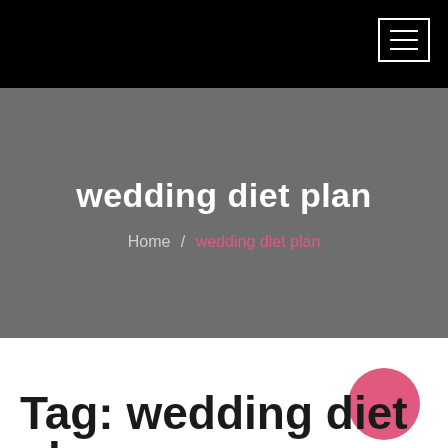wedding diet plan
Home / wedding diet plan
Tag: wedding diet plan